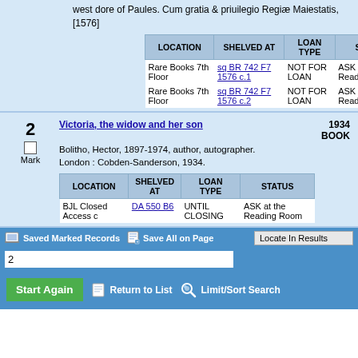west dore of Paules. Cum gratia & priuilegio Regiæ Maiestatis, [1576]
| LOCATION | SHELVED AT | LOAN TYPE | STATUS |
| --- | --- | --- | --- |
| Rare Books 7th Floor | sq BR 742 F7 1576 c.1 | NOT FOR LOAN | ASK at the Reading Room |
| Rare Books 7th Floor | sq BR 742 F7 1576 c.2 | NOT FOR LOAN | ASK at the Reading Room |
Victoria, the widow and her son
Bolitho, Hector, 1897-1974, author, autographer.
London : Cobden-Sanderson, 1934.
1934 BOOK
| LOCATION | SHELVED AT | LOAN TYPE | STATUS |
| --- | --- | --- | --- |
| BJL Closed Access c | DA 550 B6 | UNTIL CLOSING | ASK at the Reading Room |
Saved Marked Records  Save All on Page  Locate In Results  2  Start Again  Return to List  Limit/Sort Search